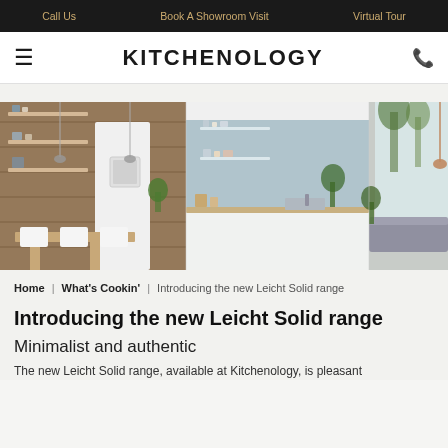Call Us | Book A Showroom Visit | Virtual Tour
KITCHENOLOGY
[Figure (photo): Wide kitchen scene showing three sections: a warm wood-paneled kitchen with shelving and dining table on the left, a white minimalist kitchen with blue backsplash in the center, and a living area with plants near large windows on the right.]
Home | What's Cookin' | Introducing the new Leicht Solid range
Introducing the new Leicht Solid range
Minimalist and authentic
The new Leicht Solid range, available at Kitchenology, is pleasant